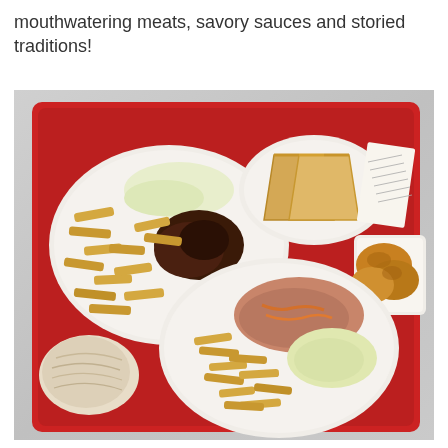mouthwatering meats, savory sauces and storied traditions!
[Figure (photo): Overhead photo of a red cafeteria tray holding multiple paper plates of barbecue food: crinkle-cut french fries with coleslaw and dark barbecue meat, white bread toast slices, a plate of pulled pork with sauce over fries and coleslaw, a basket of fried chicken, a wrapped item, and a receipt on the tray. Tray is on a stainless steel surface.]